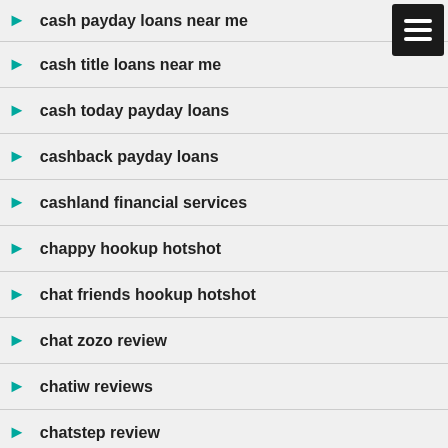cash payday loans near me
cash title loans near me
cash today payday loans
cashback payday loans
cashland financial services
chappy hookup hotshot
chat friends hookup hotshot
chat zozo review
chatiw reviews
chatstep review
cheap payday loans
check n go payday loans